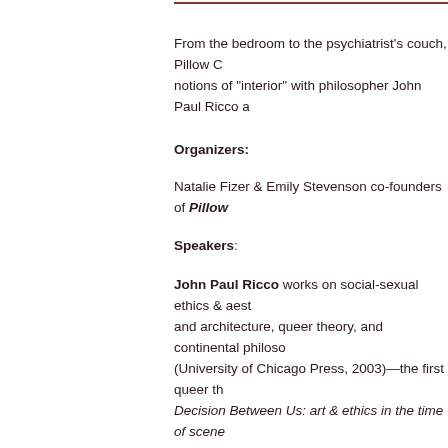From the bedroom to the psychiatrist's couch, Pillow C notions of "interior" with philosopher John Paul Ricco a
Organizers:
Natalie Fizer & Emily Stevenson co-founders of Pillow
Speakers:
John Paul Ricco works on social-sexual ethics & aest and architecture, queer theory, and continental philoso (University of Chicago Press, 2003)—the first queer th Decision Between Us: art & ethics in the time of scene third book, The Intimacy of the Outside. He has edited and recent essays have been included in Nancy and th Image Theory; as well as in the journals Qui Parle, Cu Picture, and L'Esprit Créateur. His essay, "Drool: Liqui the rarity of excessive and inassimilable forms of pre-v Descartes to Nancy. He is Professor of Contemporary at the University of Toronto, where he is currently leadi and Publics." www.utm.utoronto.ca/dvs/john-paul-ricc
Nathan Kravis is Clinical Professor of Psychiatry at W